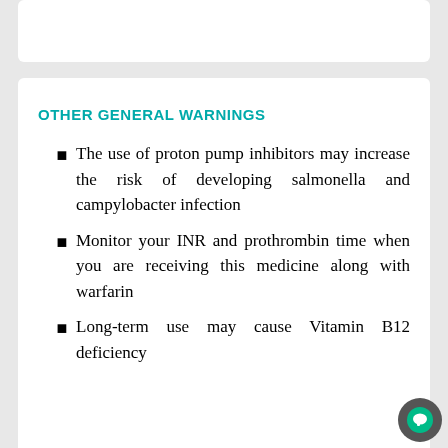OTHER GENERAL WARNINGS
The use of proton pump inhibitors may increase the risk of developing salmonella and campylobacter infection
Monitor your INR and prothrombin time when you are receiving this medicine along with warfarin
Long-term use may cause Vitamin B12 deficiency